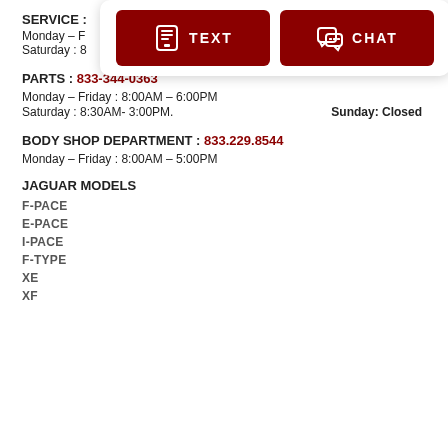SERVICE :
[Figure (infographic): Popup with two dark red buttons: TEXT (with phone/text icon) and CHAT (with chat bubble icon)]
Monday – Friday :
Saturday : 8                                                Closed
PARTS : 833-344-0363
Monday – Friday : 8:00AM – 6:00PM
Saturday : 8:30AM- 3:00PM.                    Sunday: Closed
BODY SHOP DEPARTMENT : 833.229.8544
Monday – Friday : 8:00AM – 5:00PM
JAGUAR MODELS
F-PACE
E-PACE
I-PACE
F-TYPE
XE
XF